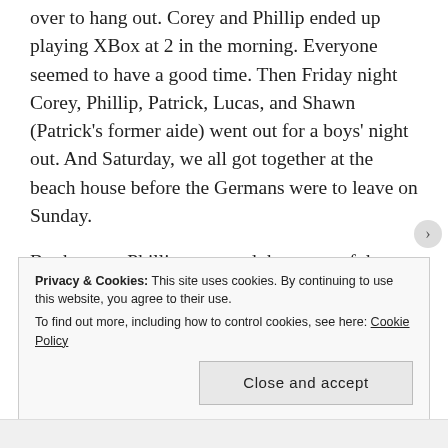over to hang out. Corey and Phillip ended up playing XBox at 2 in the morning. Everyone seemed to have a good time. Then Friday night Corey, Phillip, Patrick, Lucas, and Shawn (Patrick's former aide) went out for a boys' night out. And Saturday, we all got together at the beach house before the Germans were to leave on Sunday.
By the way, Phillip corrected the usage of the phrase the Germans to describe our relatives who live in Germany because as he pointed out, he and Hannah were born in the U.S. and have dual citizenship. I just found it amusing
Privacy & Cookies: This site uses cookies. By continuing to use this website, you agree to their use.
To find out more, including how to control cookies, see here: Cookie Policy

Close and accept